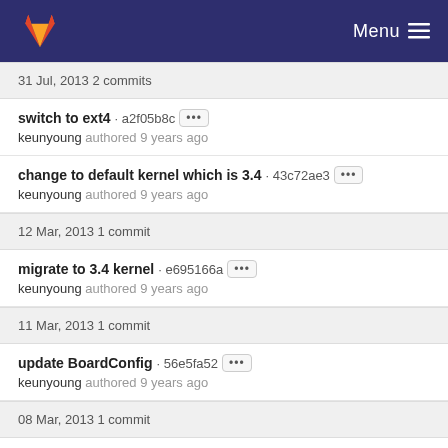Menu
31 Jul, 2013 2 commits
switch to ext4 · a2f05b8c
keunyoung authored 9 years ago
change to default kernel which is 3.4 · 43c72ae3
keunyoung authored 9 years ago
12 Mar, 2013 1 commit
migrate to 3.4 kernel · e695166a
keunyoung authored 9 years ago
11 Mar, 2013 1 commit
update BoardConfig · 56e5fa52
keunyoung authored 9 years ago
08 Mar, 2013 1 commit